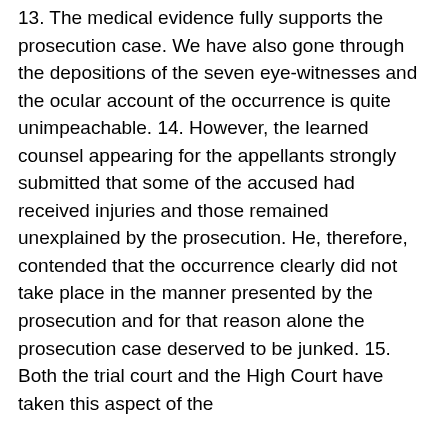13. The medical evidence fully supports the prosecution case. We have also gone through the depositions of the seven eye-witnesses and the ocular account of the occurrence is quite unimpeachable. 14. However, the learned counsel appearing for the appellants strongly submitted that some of the accused had received injuries and those remained unexplained by the prosecution. He, therefore, contended that the occurrence clearly did not take place in the manner presented by the prosecution and for that reason alone the prosecution case deserved to be junked. 15. Both the trial court and the High Court have taken this aspect of the